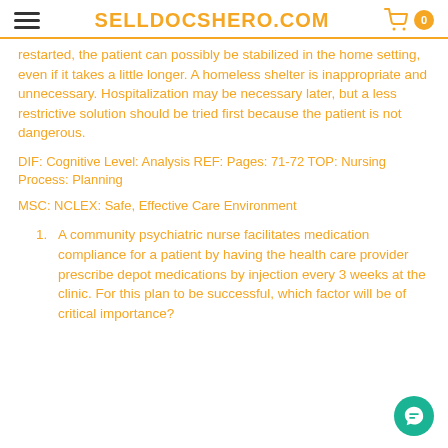SELLDOCSHERO.COM
restarted, the patient can possibly be stabilized in the home setting, even if it takes a little longer. A homeless shelter is inappropriate and unnecessary. Hospitalization may be necessary later, but a less restrictive solution should be tried first because the patient is not dangerous.
DIF: Cognitive Level: Analysis REF: Pages: 71-72 TOP: Nursing Process: Planning
MSC: NCLEX: Safe, Effective Care Environment
A community psychiatric nurse facilitates medication compliance for a patient by having the health care provider prescribe depot medications by injection every 3 weeks at the clinic. For this plan to be successful, which factor will be of critical importance?